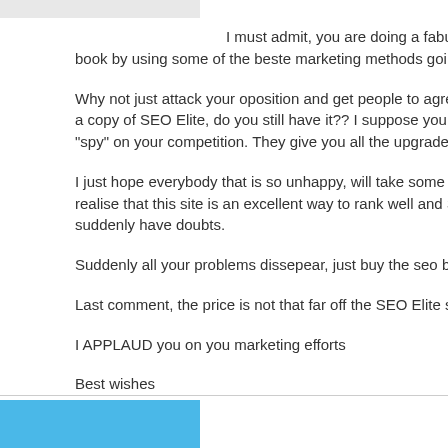I must admit, you are doing a fabulous book by using some of the beste marketing methods going.
Why not just attack your oposition and get people to agree with you. I bought a copy of SEO Elite, do you still have it?? I suppose you would. We use it to "spy" on your competition. They give you all the upgrades free.
I just hope everybody that is so unhappy, will take some time to learn and realise that this site is an excellent way to rank well and SELL a product. Then suddenly have doubts.
Suddenly all your problems dissepear, just buy the seo book.
Last comment, the price is not that far off the SEO Elite software p
I APPLAUD you on you marketing efforts
Best wishes